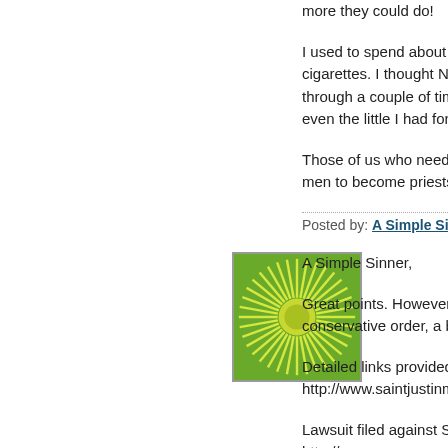more they could do!
I used to spend about $5.00 a cigarettes. I thought NOTHIN through a couple of times a w even the little I had for HIS g
Those of us who need, dema men to become priests, are w
Posted by: A Simple Sinner | Wedn
[Figure (illustration): Green and yellow sun/starburst logo icon — circular design with radiating lines on green background]
A Simple Sinner,
Great points. However, peop conservative order, a boatloa
Detailed links provided here: http://www.saintjustinmartyr.o
Lawsuit filed against Scranto http://www.renewamerica.us/
Another accusation against F http://www.renewamerica.us/